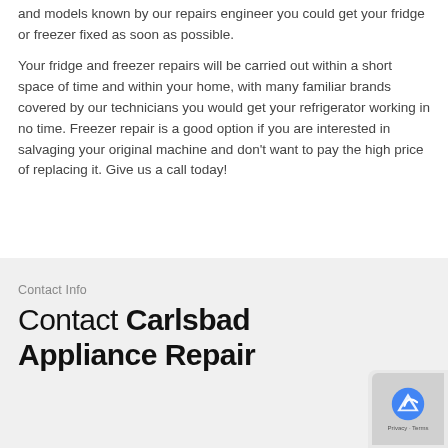and models known by our repairs engineer you could get your fridge or freezer fixed as soon as possible.
Your fridge and freezer repairs will be carried out within a short space of time and within your home, with many familiar brands covered by our technicians you would get your refrigerator working in no time. Freezer repair is a good option if you are interested in salvaging your original machine and don't want to pay the high price of replacing it. Give us a call today!
Contact Info
Contact Carlsbad Appliance Repair